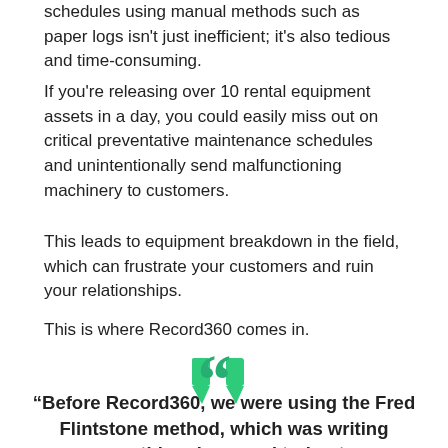schedules using manual methods such as paper logs isn't just inefficient; it's also tedious and time-consuming.
If you're releasing over 10 rental equipment assets in a day, you could easily miss out on critical preventative maintenance schedules and unintentionally send malfunctioning machinery to customers.
This leads to equipment breakdown in the field, which can frustrate your customers and ruin your relationships.
This is where Record360 comes in.
[Figure (illustration): Large green double quotation mark symbol centered on page]
“Before Record360, we were using the Fred Flintstone method, which was writing everything down and trying to